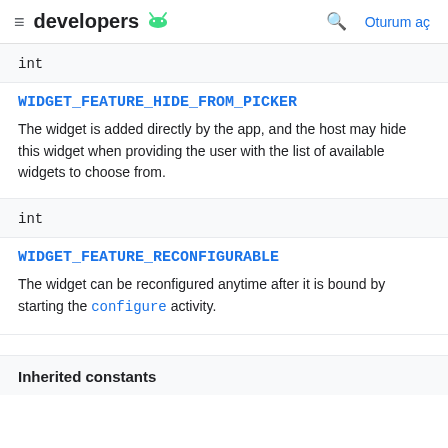developers [android logo] | [search] Oturum aç
int
WIDGET_FEATURE_HIDE_FROM_PICKER
The widget is added directly by the app, and the host may hide this widget when providing the user with the list of available widgets to choose from.
int
WIDGET_FEATURE_RECONFIGURABLE
The widget can be reconfigured anytime after it is bound by starting the configure activity.
Inherited constants